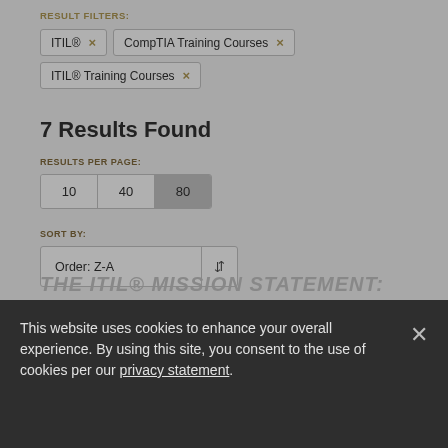RESULT FILTERS:
ITIL® ×
CompTIA Training Courses ×
ITIL® Training Courses ×
7 Results Found
RESULTS PER PAGE:
10  40  80
SORT BY:
Order: Z-A
THE ITIL® MISSION STATEMENT:
This website uses cookies to enhance your overall experience. By using this site, you consent to the use of cookies per our privacy statement.